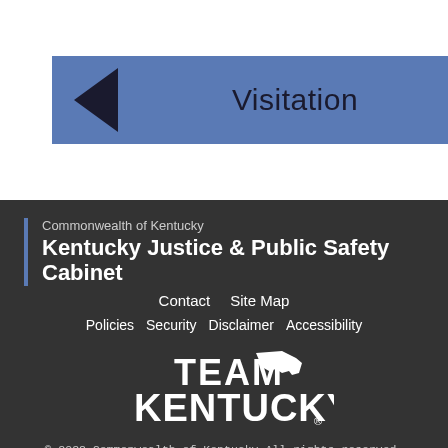Visitation
Commonwealth of Kentucky
Kentucky Justice & Public Safety Cabinet
Contact  Site Map
Policies  Security  Disclaimer  Accessibility
Team Kentucky
© 2022 Commonwealth of Kentucky.All rights reserved.
Kentucky.gov